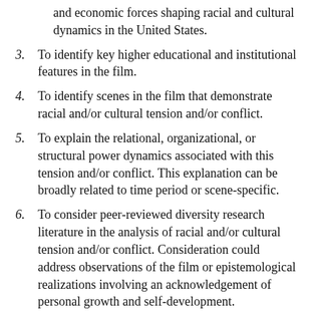(continued) and economic forces shaping racial and cultural dynamics in the United States.
3. To identify key higher educational and institutional features in the film.
4. To identify scenes in the film that demonstrate racial and/or cultural tension and/or conflict.
5. To explain the relational, organizational, or structural power dynamics associated with this tension and/or conflict. This explanation can be broadly related to time period or scene-specific.
6. To consider peer-reviewed diversity research literature in the analysis of racial and/or cultural tension and/or conflict. Consideration could address observations of the film or epistemological realizations involving an acknowledgement of personal growth and self-development.
7. To hypothesize how racial and/or cultural tension (partial, continues below)